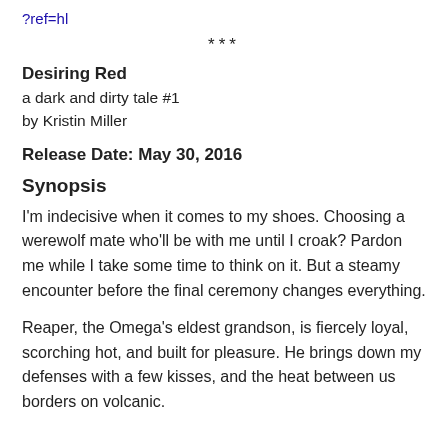?ref=hl
***
Desiring Red
a dark and dirty tale #1
by Kristin Miller
Release Date: May 30, 2016
Synopsis
I'm indecisive when it comes to my shoes. Choosing a werewolf mate who'll be with me until I croak? Pardon me while I take some time to think on it. But a steamy encounter before the final ceremony changes everything.
Reaper, the Omega's eldest grandson, is fiercely loyal, scorching hot, and built for pleasure. He brings down my defenses with a few kisses, and the heat between us borders on volcanic.